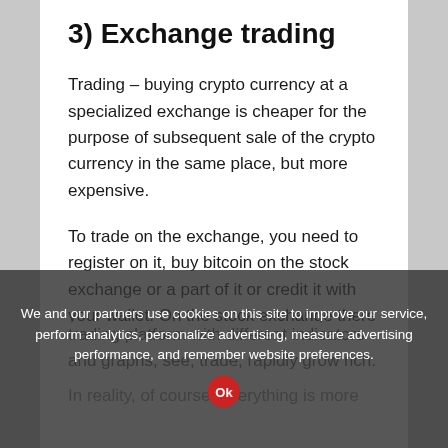3) Exchange trading
Trading – buying crypto currency at a specialized exchange is cheaper for the purpose of subsequent sale of the crypto currency in the same place, but more expensive.
To trade on the exchange, you need to register on it, buy bitcoin on the stock exchange or a part of it or credit it with your wallet. On the stock exchange there is a trading platform with different indicators and graphs, see, trade, rapidly grow rich.
In reality, of course, everything is more
We and our partners use cookies on this site to improve our service, perform analytics, personalize advertising, measure advertising performance, and remember website preferences.